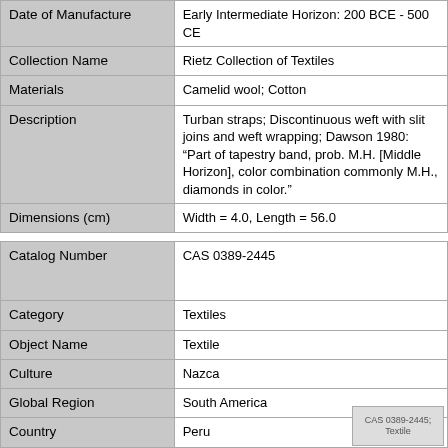| Field | Value |
| --- | --- |
| Date of Manufacture | Early Intermediate Horizon: 200 BCE - 500 CE |
| Collection Name | Rietz Collection of Textiles |
| Materials | Camelid wool; Cotton |
| Description | Turban straps; Discontinuous weft with slit joins and weft wrapping; Dawson 1980: “Part of tapestry band, prob. M.H. [Middle Horizon], color combination commonly M.H., diamonds in color.” |
| Dimensions (cm) | Width = 4.0, Length = 56.0 |
| Catalog Number | CAS 0389-2445 |
| Category | Textiles |
| Object Name | Textile |
| Culture | Nazca |
| Global Region | South America |
| Country | Peru |
| State/Prov./Dist. |  |
| County |  |